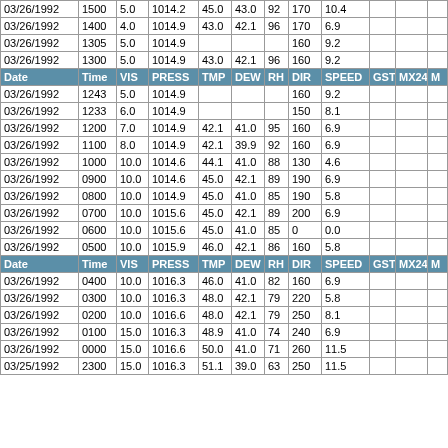| Date | Time | VIS | PRESS | TMP | DEW | RH | DIR | SPEED | GST | MX24 | M |
| --- | --- | --- | --- | --- | --- | --- | --- | --- | --- | --- | --- |
| 03/26/1992 | 1500 | 5.0 | 1014.2 | 45.0 | 43.0 | 92 | 170 | 10.4 |  |  |  |
| 03/26/1992 | 1400 | 4.0 | 1014.9 | 43.0 | 42.1 | 96 | 170 | 6.9 |  |  |  |
| 03/26/1992 | 1305 | 5.0 | 1014.9 |  |  |  | 160 | 9.2 |  |  |  |
| 03/26/1992 | 1300 | 5.0 | 1014.9 | 43.0 | 42.1 | 96 | 160 | 9.2 |  |  |  |
| Date | Time | VIS | PRESS | TMP | DEW | RH | DIR | SPEED | GST | MX24 | M |
| 03/26/1992 | 1243 | 5.0 | 1014.9 |  |  |  | 160 | 9.2 |  |  |  |
| 03/26/1992 | 1233 | 6.0 | 1014.9 |  |  |  | 150 | 8.1 |  |  |  |
| 03/26/1992 | 1200 | 7.0 | 1014.9 | 42.1 | 41.0 | 95 | 160 | 6.9 |  |  |  |
| 03/26/1992 | 1100 | 8.0 | 1014.9 | 42.1 | 39.9 | 92 | 160 | 6.9 |  |  |  |
| 03/26/1992 | 1000 | 10.0 | 1014.6 | 44.1 | 41.0 | 88 | 130 | 4.6 |  |  |  |
| 03/26/1992 | 0900 | 10.0 | 1014.6 | 45.0 | 42.1 | 89 | 190 | 6.9 |  |  |  |
| 03/26/1992 | 0800 | 10.0 | 1014.9 | 45.0 | 41.0 | 85 | 190 | 5.8 |  |  |  |
| 03/26/1992 | 0700 | 10.0 | 1015.6 | 45.0 | 42.1 | 89 | 200 | 6.9 |  |  |  |
| 03/26/1992 | 0600 | 10.0 | 1015.6 | 45.0 | 41.0 | 85 | 0 | 0.0 |  |  |  |
| 03/26/1992 | 0500 | 10.0 | 1015.9 | 46.0 | 42.1 | 86 | 160 | 5.8 |  |  |  |
| Date | Time | VIS | PRESS | TMP | DEW | RH | DIR | SPEED | GST | MX24 | M |
| 03/26/1992 | 0400 | 10.0 | 1016.3 | 46.0 | 41.0 | 82 | 160 | 6.9 |  |  |  |
| 03/26/1992 | 0300 | 10.0 | 1016.3 | 48.0 | 42.1 | 79 | 220 | 5.8 |  |  |  |
| 03/26/1992 | 0200 | 10.0 | 1016.6 | 48.0 | 42.1 | 79 | 250 | 8.1 |  |  |  |
| 03/26/1992 | 0100 | 15.0 | 1016.3 | 48.9 | 41.0 | 74 | 240 | 6.9 |  |  |  |
| 03/26/1992 | 0000 | 15.0 | 1016.6 | 50.0 | 41.0 | 71 | 260 | 11.5 |  |  |  |
| 03/25/1992 | 2300 | 15.0 | 1016.3 | 51.1 | 39.0 | 63 | 250 | 11.5 |  |  |  |